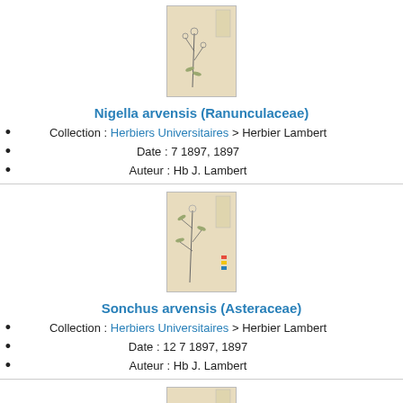[Figure (photo): Herbarium specimen of Nigella arvensis, pressed plant on aged paper with label]
Nigella arvensis (Ranunculaceae)
Collection : Herbiers Universitaires > Herbier Lambert
Date : 7 1897, 1897
Auteur : Hb J. Lambert
[Figure (photo): Herbarium specimen of Sonchus arvensis, pressed plant on aged paper with colored markers]
Sonchus arvensis (Asteraceae)
Collection : Herbiers Universitaires > Herbier Lambert
Date : 12 7 1897, 1897
Auteur : Hb J. Lambert
[Figure (photo): Herbarium specimen of Leontodon hispidus, pressed plant on aged paper with colored markers]
Leontodon hispidus (Asteraceae)
Collection : Herbiers Universitaires > Herbier Lambert